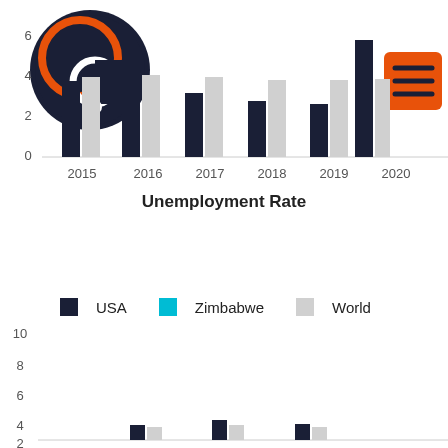[Figure (grouped-bar-chart): Unemployment Rate]
Unemployment Rate
[Figure (grouped-bar-chart): ]